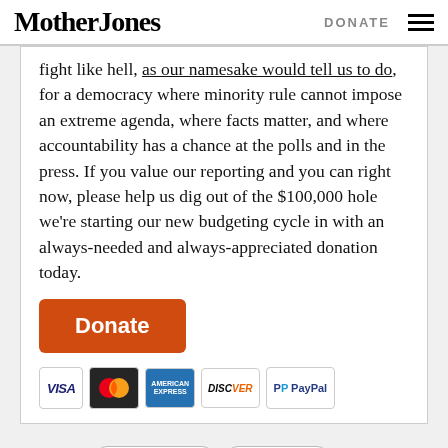Mother Jones | DONATE
fight like hell, as our namesake would tell us to do, for a democracy where minority rule cannot impose an extreme agenda, where facts matter, and where accountability has a chance at the polls and in the press. If you value our reporting and you can right now, please help us dig out of the $100,000 hole we're starting our new budgeting cycle in with an always-needed and always-appreciated donation today.
[Figure (other): Orange Donate button followed by payment method logos: VISA, MasterCard, American Express, Discover, PayPal]
More about: Climate Change  Climate Desk